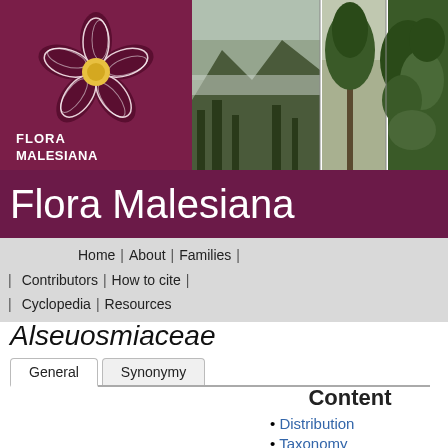[Figure (logo): Flora Malesiana logo: dark maroon/purple background with a stylized white flower and yellow center, text FLORA MALESIANA below]
[Figure (photo): A strip of three nature photographs: misty mountain forest, a tall lone tree in a clearing, and lush green tropical foliage]
Flora Malesiana
Home | About | Families | | Contributors | How to cite | | Cyclopedia | Resources
Alseuosmiaceae
General  Synonymy
Content
Distribution
Taxonomy